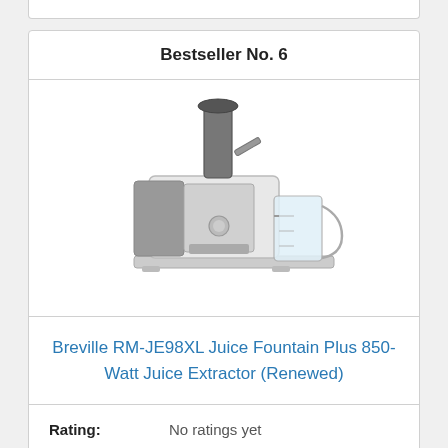Bestseller No. 6
[Figure (photo): Breville RM-JE98XL Juice Fountain Plus 850-Watt Juice Extractor, a stainless steel and grey juicer with a tall feed chute and a collection jug on the side.]
Breville RM-JE98XL Juice Fountain Plus 850-Watt Juice Extractor (Renewed)
Rating: No ratings yet
Buy on Amazon